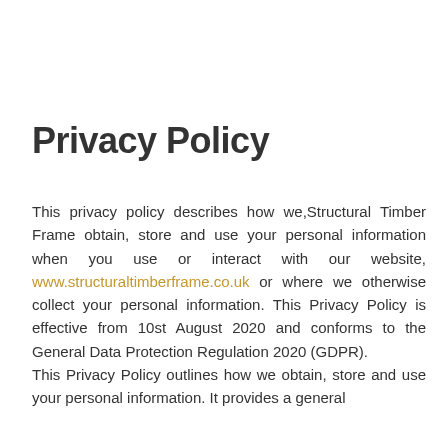Privacy Policy
This privacy policy describes how we,Structural Timber Frame obtain, store and use your personal information when you use or interact with our website, www.structuraltimberframe.co.uk or where we otherwise collect your personal information. This Privacy Policy is effective from 10st August 2020 and conforms to the General Data Protection Regulation 2020 (GDPR).
This Privacy Policy outlines how we obtain, store and use your personal information. It provides a general